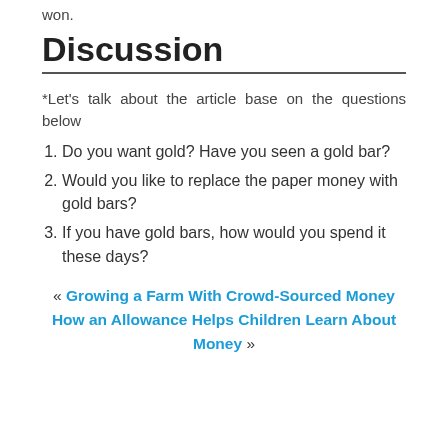won.
Discussion
*Let's talk about the article base on the questions below
Do you want gold? Have you seen a gold bar?
Would you like to replace the paper money with gold bars?
If you have gold bars, how would you spend it these days?
« Growing a Farm With Crowd-Sourced Money
How an Allowance Helps Children Learn About Money »